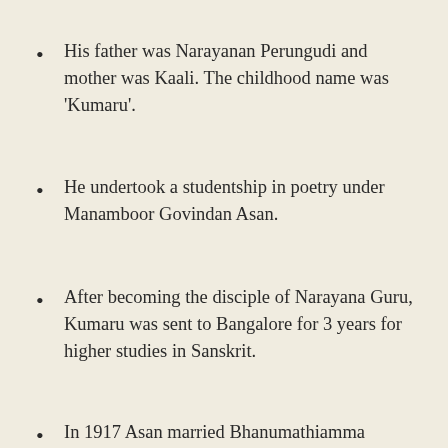His father was Narayanan Perungudi and mother was Kaali. The childhood name was ‘Kumaru’.
He undertook a studentship in poetry under Manamboor Govindan Asan.
After becoming the disciple of Narayana Guru, Kumaru was sent to Bangalore for 3 years for higher studies in Sanskrit.
In 1917 Asan married Bhanumathiamma daughter of